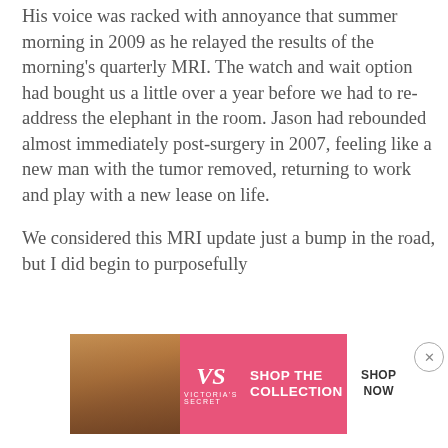His voice was racked with annoyance that summer morning in 2009 as he relayed the results of the morning's quarterly MRI. The watch and wait option had bought us a little over a year before we had to re-address the elephant in the room. Jason had rebounded almost immediately post-surgery in 2007, feeling like a new man with the tumor removed, returning to work and play with a new lease on life.

We considered this MRI update just a bump in the road, but I did begin to purposefully
[Figure (other): Victoria's Secret advertisement banner: pink background with a woman's photo on left, VS logo in center, 'SHOP THE COLLECTION' text, and a 'SHOP NOW' button on right.]